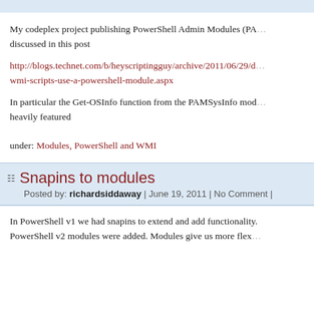My codeplex project publishing PowerShell Admin Modules (PA... discussed in this post
http://blogs.technet.com/b/heyscriptingguy/archive/2011/06/29/do... wmi-scripts-use-a-powershell-module.aspx
In particular the Get-OSInfo function from the PAMSysInfo mod... heavily featured
under: Modules, PowerShell and WMI
Snapins to modules
Posted by: richardsiddaway | June 19, 2011 | No Comment |
In PowerShell v1 we had snapins to extend and add functionality. PowerShell v2 modules were added. Modules give us more flex...